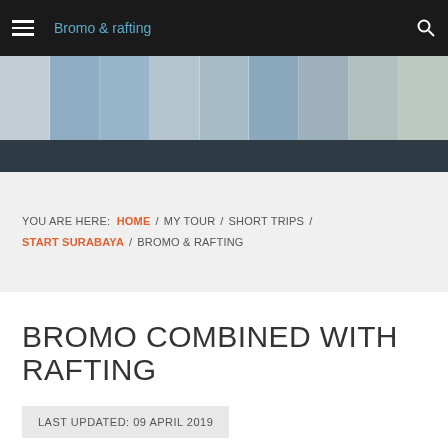Bromo & rafting
[Figure (photo): Horizontal banner strip showing a collage of travel destination photos]
YOU ARE HERE: HOME / MY TOUR / SHORT TRIPS / START SURABAYA / BROMO & RAFTING
BROMO COMBINED WITH RAFTING
LAST UPDATED: 09 APRIL 2019